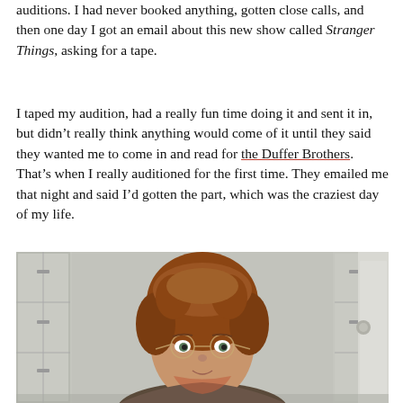auditions. I had never booked anything, gotten close calls, and then one day I got an email about this new show called Stranger Things, asking for a tape.
I taped my audition, had a really fun time doing it and sent it in, but didn’t really think anything would come of it until they said they wanted me to come in and read for the Duffer Brothers. That’s when I really auditioned for the first time. They emailed me that night and said I’d gotten the part, which was the craziest day of my life.
[Figure (photo): A young woman with curly reddish-brown hair and round wire-framed glasses, standing in front of school lockers, appearing to be a character from a TV show (Barb from Stranger Things).]